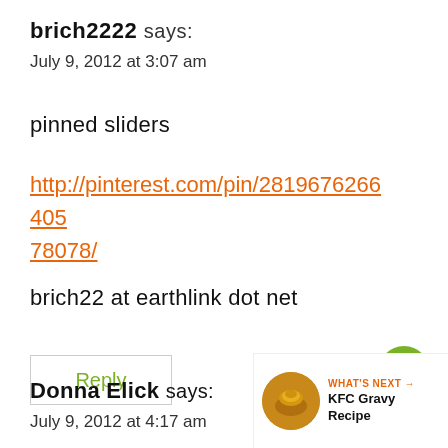brich2222 says:
July 9, 2012 at 3:07 am
pinned sliders
http://pinterest.com/pin/281967626640578078/
brich22 at earthlink dot net
Reply
Donna Elick says:
July 9, 2012 at 4:17 am
WHAT'S NEXT → KFC Gravy Recipe